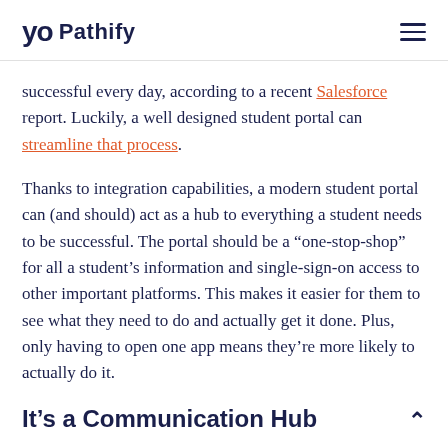Pathify
successful every day, according to a recent Salesforce report. Luckily, a well designed student portal can streamline that process.
Thanks to integration capabilities, a modern student portal can (and should) act as a hub to everything a student needs to be successful. The portal should be a “one-stop-shop” for all a student’s information and single-sign-on access to other important platforms. This makes it easier for them to see what they need to do and actually get it done. Plus, only having to open one app means they’re more likely to actually do it.
It’s a Communication Hub